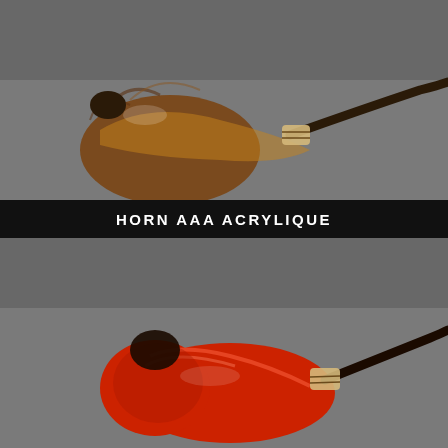[Figure (photo): A briar tobacco pipe with a smooth, curved horn shape, brown wood grain finish, with a light-colored acrylic stem band, photographed on a grey background.]
HORN AAA ACRYLIQUE
[Figure (photo): A red-stained briar tobacco pipe with a horn shape, featuring a vivid red sandblasted or smooth finish, light-colored stem band, and black stem. A diagonal banner reading 'VENDUE' overlays the top-left corner of the image.]